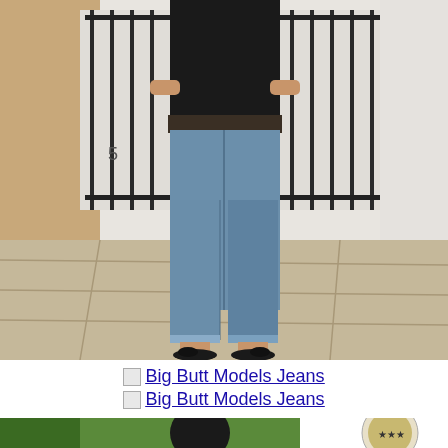[Figure (photo): A woman wearing a black top, blue high-waisted skinny jeans with frayed hems, and black bow-tie flat sandals, standing on a stone sidewalk in front of a white building with iron railings. The photo is cropped from the shoulders down to the feet.]
Big Butt Models Jeans
Big Butt Models Jeans
[Figure (photo): Partial bottom image showing what appears to be outdoor greenery and a circular logo or emblem on the right side.]